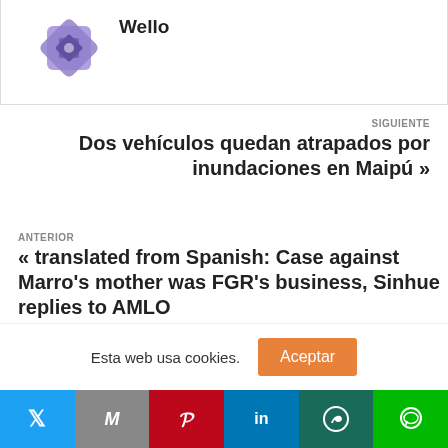[Figure (logo): Purple geometric diamond/flower logo icon]
Wello
SIGUIENTE
Dos vehículos quedan atrapados por inundaciones en Maipú »
ANTERIOR
« translated from Spanish: Case against Marro's mother was FGR's business, Sinhue replies to AMLO
Esta web usa cookies.
Aceptar